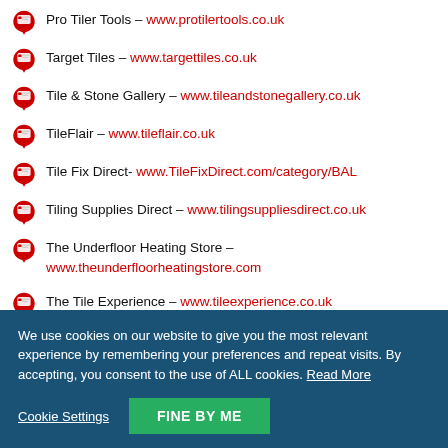Pro Tiler Tools – www.protilertools.co.uk
Target Tiles – www.targettiles.co.uk
Tile & Stone Gallery – www.tileandstonegallery.co.uk
TileFlair – www.tileflair.co.uk
Tile Fix Direct- www.TileFixDirect.com/category/BAL
Tiling Supplies Direct – www.tilingsuppliesdirect.co.uk
The Underfloor Heating Store – www.theunderfloorheatingstore.com
The Tile Experience – www.tileexperience.co.uk
Tiles UK – www.tilesuk.com
Topps Tiles – www.toppstiles.co.uk
We use cookies on our website to give you the most relevant experience by remembering your preferences and repeat visits. By accepting, you consent to the use of ALL cookies. Read More
Cookie Settings | FINE BY ME